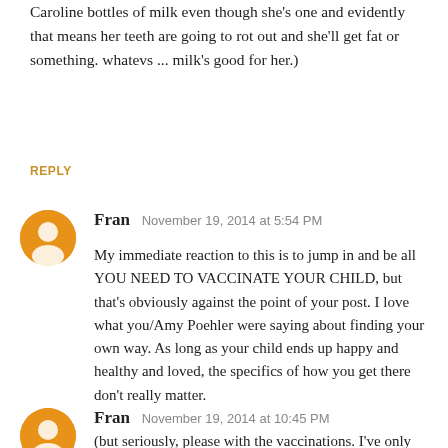Caroline bottles of milk even though she's one and evidently that means her teeth are going to rot out and she'll get fat or something. whatevs ... milk's good for her.)
REPLY
Fran  November 19, 2014 at 5:54 PM
My immediate reaction to this is to jump in and be all YOU NEED TO VACCINATE YOUR CHILD, but that's obviously against the point of your post. I love what you/Amy Poehler were saying about finding your own way. As long as your child ends up happy and healthy and loved, the specifics of how you get there don't really matter.

(but seriously, please with the vaccinations. I've only been in med school for a few months, but that's already been one of the major takeaways - vaccines are important.)
REPLY
Fran  November 19, 2014 at 10:45 PM